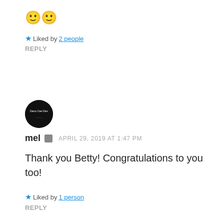🙂🙂
★ Liked by 2 people
REPLY
[Figure (illustration): Round black avatar image with white text 'Deco Can Dex' and decorative dots]
mel  APRIL 29, 2019 AT 1:47 PM
Thank you Betty! Congratulations to you too!
★ Liked by 1 person
REPLY